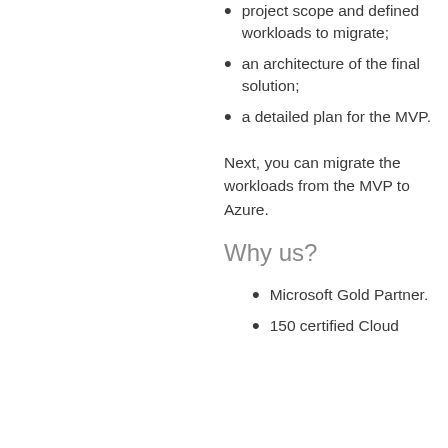project scope and defined workloads to migrate;
an architecture of the final solution;
a detailed plan for the MVP.
Next, you can migrate the workloads from the MVP to Azure.
Why us?
Microsoft Gold Partner.
150 certified Cloud